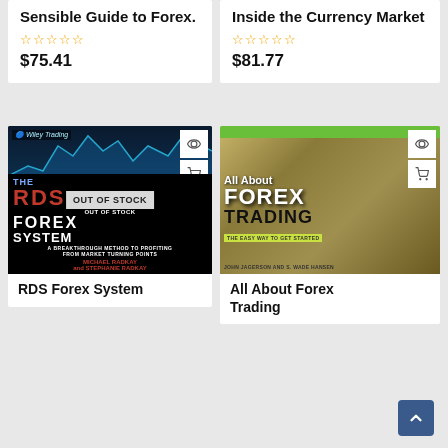Sensible Guide to Forex.
★★★★★
$75.41
Inside the Currency Market
★★★★★
$81.77
[Figure (photo): Book cover: The RDS Forex System by Michael Radkay and Stephanie Radkay, Wiley Trading. Shows stock chart on dark blue background with orange/white text. 'OUT OF STOCK' overlay shown.]
[Figure (photo): Book cover: All About Forex Trading by John Jagerson and S. Wade Hansen. Shows currency notes background with title text, green 'The Easy Way to Get Started' banner.]
RDS Forex System
All About Forex Trading